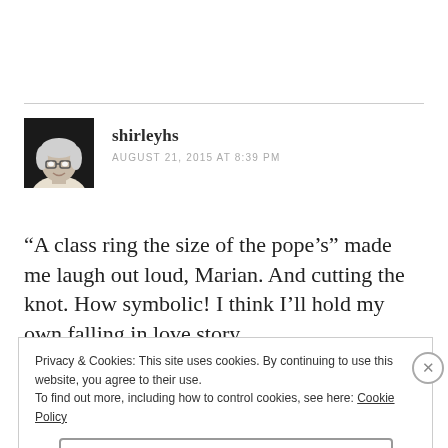[Figure (photo): Avatar photo of shirleyhs — an older woman with short white/grey hair and glasses, dark background]
shirleyhs
AUGUST 21, 2015 AT 8:39 PM
“A class ring the size of the pope’s” made me laugh out loud, Marian. And cutting the knot. How symbolic! I think I’ll hold my own falling in love story
Privacy & Cookies: This site uses cookies. By continuing to use this website, you agree to their use.
To find out more, including how to control cookies, see here: Cookie Policy
Close and accept